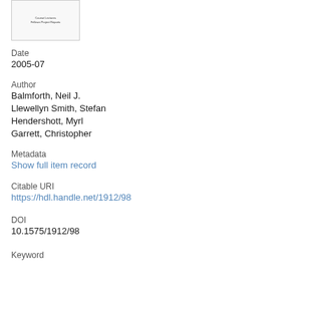[Figure (illustration): Thumbnail image of a document cover with small text reading 'Course Lectures Fellows Project Reports']
Date
2005-07
Author
Balmforth, Neil J.
Llewellyn Smith, Stefan
Hendershott, Myrl
Garrett, Christopher
Metadata
Show full item record
Citable URI
https://hdl.handle.net/1912/98
DOI
10.1575/1912/98
Keyword